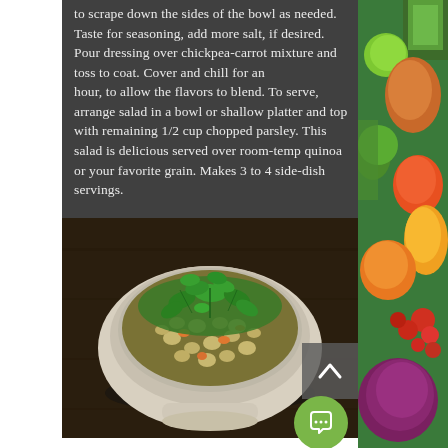to scrape down the sides of the bowl as needed. Taste for seasoning, add more salt, if desired. Pour dressing over chickpea-carrot mixture and toss to coat. Cover and chill for an hour, to allow the flavors to blend. To serve, arrange salad in a bowl or shallow platter and top with remaining 1/2 cup chopped parsley. This salad is delicious served over room-temp quinoa or your favorite grain. Makes 3 to 4 side-dish servings.
[Figure (photo): A white ceramic bowl filled with chickpea-carrot salad topped with chopped parsley, placed on a dark wooden surface.]
[Figure (photo): Colorful assortment of fresh vegetables including cucumbers, lime, mango, lettuce, bell peppers, tomatoes, and red cabbage arranged on a white background.]